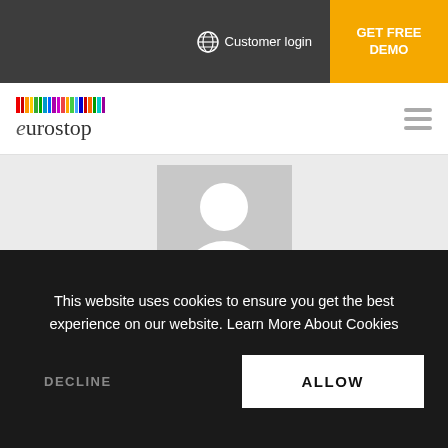Customer login  GET FREE DEMO
[Figure (logo): Eurostop logo with colorful barcode and stylized text]
[Figure (photo): Generic user avatar placeholder — grey square with white silhouette of a person]
Eurostop
This website uses cookies to ensure you get the best experience on our website. Learn More About Cookies
DECLINE
ALLOW